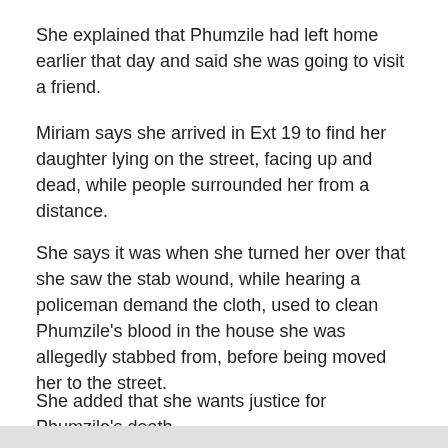She explained that Phumzile had left home earlier that day and said she was going to visit a friend.
Miriam says she arrived in Ext 19 to find her daughter lying on the street, facing up and dead, while people surrounded her from a distance.
She says it was when she turned her over that she saw the stab wound, while hearing a policeman demand the cloth, used to clean Phumzile's blood in the house she was allegedly stabbed from, before being moved her to the street.
She added that she wants justice for Phumzile's death.